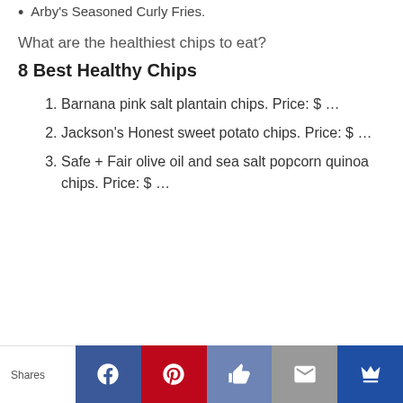Arby's Seasoned Curly Fries.
What are the healthiest chips to eat?
8 Best Healthy Chips
Barnana pink salt plantain chips. Price: $ ...
Jackson's Honest sweet potato chips. Price: $ ...
Safe + Fair olive oil and sea salt popcorn quinoa chips. Price: $ ...
Shares | Facebook | Pinterest | Like | Mail | Crown